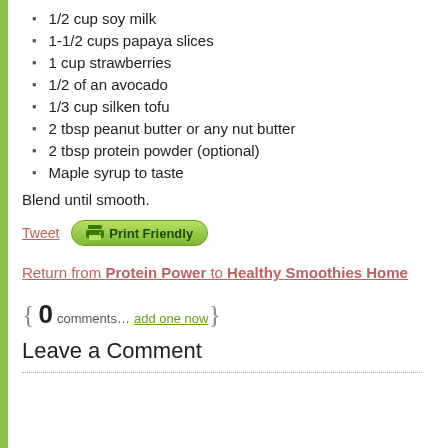1/2 cup soy milk
1-1/2 cups papaya slices
1 cup strawberries
1/2 of an avocado
1/3 cup silken tofu
2 tbsp peanut butter or any nut butter
2 tbsp protein powder (optional)
Maple syrup to taste
Blend until smooth.
Tweet  Print Friendly
Return from Protein Power to Healthy Smoothies Home
0 comments… add one now
Leave a Comment